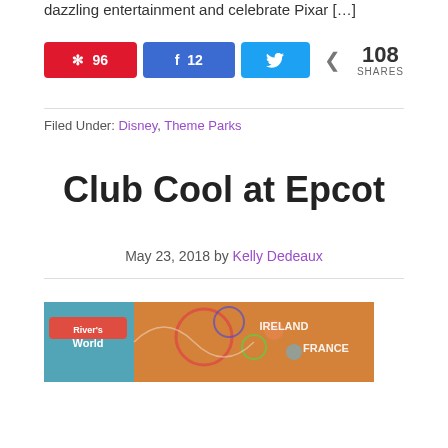dazzling entertainment and celebrate Pixar […]
Pinterest 96 | Facebook 12 | Twitter | Share 108 SHARES
Filed Under: Disney, Theme Parks
Club Cool at Epcot
May 23, 2018 by Kelly Dedeaux
[Figure (photo): Colorful banner image related to Epcot/Disney theme parks, showing logos and text including 'River's World', 'IRELAND', 'FRANCE' on an orange background with circles and patterns.]